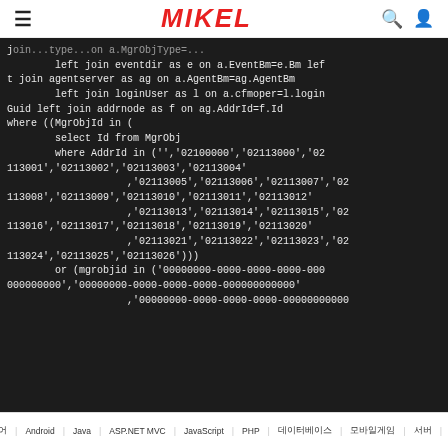≡  MIKEL  🔍 👤
left join eventdir as e on a.EventBm=e.Bm left join agentserver as ag on a.AgentBm=ag.AgentBm
        left join loginUser as l on a.cfmoper=l.loginGuid left join addrnode as f on ag.AddrId=f.Id
where ((MgrObjId in (
        select Id from MgrObj
        where AddrId in ('','02100000','02113000','02113001','02113002','02113003','02113004'
                    ,'02113005','02113006','02113007','02113008','02113009','02113010','02113011','02113012'
                    ,'02113013','02113014','02113015','02113016','02113017','02113018','02113019','02113020'
                    ,'02113021','02113022','02113023','02113024','02113025','02113026')))
        or (mgrobjid in ('00000000-0000-0000-0000-000000000000','00000000-0000-0000-0000-000000000000'
                    ,'00000000-0000-0000-0000-000000000000
소프트웨어  Android  Java  ASP.NET MVC  JavaScript  PHP  데이터베이스  모바일게임  서버  클라우드